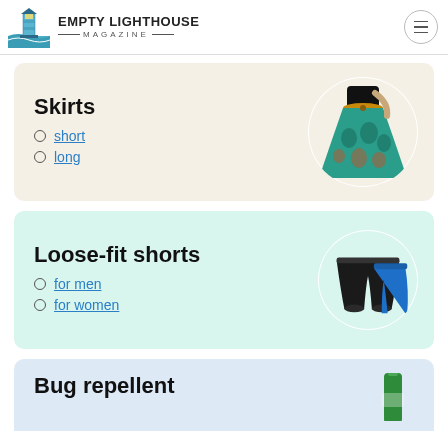EMPTY LIGHTHOUSE MAGAZINE
Skirts
short
long
[Figure (photo): Person wearing a colorful teal/orange patterned long skirt, photo in circular frame]
Loose-fit shorts
for men
for women
[Figure (photo): Black and blue loose-fit shorts displayed, photo in circular frame]
Bug repellent
[Figure (photo): Green bottle of bug repellent in circular frame (partially visible)]